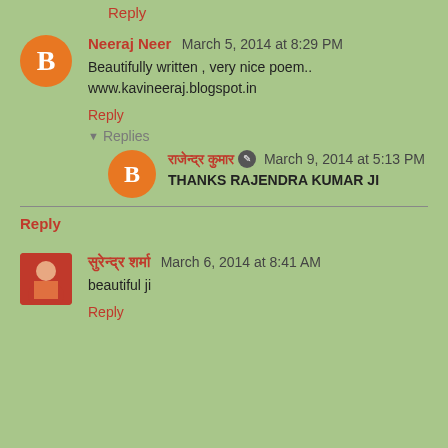Reply
Neeraj Neer  March 5, 2014 at 8:29 PM
Beautifully written , very nice poem..
www.kavineeraj.blogspot.in
Reply
▾ Replies
राजेन्द्र कुमार ✎ March 9, 2014 at 5:13 PM
THANKS RAJENDRA KUMAR JI
Reply
सुरेन्द्र शर्मा  March 6, 2014 at 8:41 AM
beautiful ji
Reply